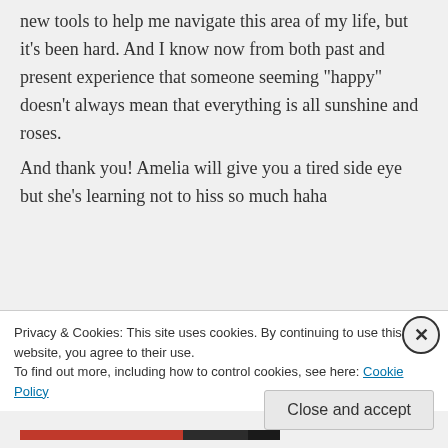new tools to help me navigate this area of my life, but it's been hard. And I know now from both past and present experience that someone seeming “happy” doesn’t always mean that everything is all sunshine and roses.

And thank you! Amelia will give you a tired side eye but she’s learning not to hiss so much haha
↵ Reply
Privacy & Cookies: This site uses cookies. By continuing to use this website, you agree to their use.
To find out more, including how to control cookies, see here: Cookie Policy
Close and accept